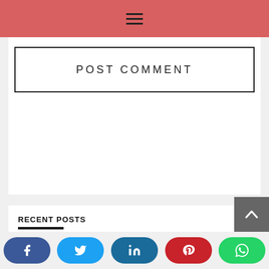Navigation bar with hamburger menu icon
POST COMMENT
RECENT POSTS
01  Cygnett Hotels & Resorts to open a Resort in Bharatpur Rajasthan
Social share buttons: Facebook, Twitter, LinkedIn, Pinterest, WhatsApp